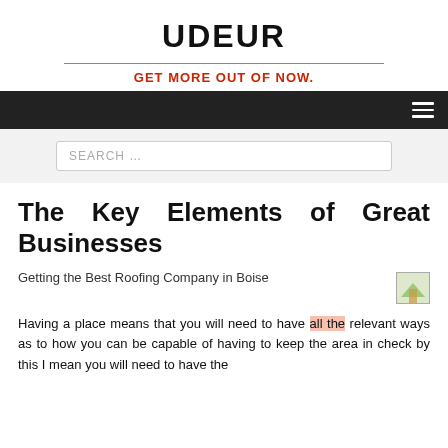UDEUR
GET MORE OUT OF NOW.
The Key Elements of Great Businesses
Getting the Best Roofing Company in Boise
[Figure (photo): Small thumbnail image placeholder]
Having a place means that you will need to have all the relevant ways as to how you can be capable of having to keep the area in check by this I mean you will need to have the